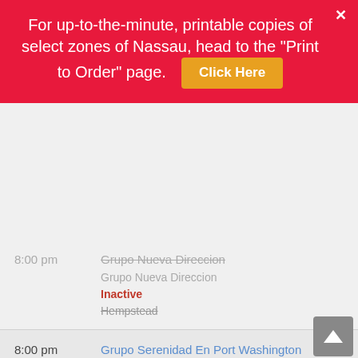For up-to-the-minute, printable copies of select zones of Nassau, head to the "Print to Order" page. Click Here
8:00 pm | Grupo Nueva Direccion | Grupo Nueva Direccion | Inactive | Hempstead
8:00 pm | Grupo Serenidad En Port Washington *Reopened* | 24 Willowdale Ave | Port Washington
8:00 pm | Wantagh Friday Nite Live *Hybrid* | Christ Luth Ch | In-person and Online | 3384 Island Rd | Wantagh
8:00 pm | Sober Blizzard | Sober Blizzard